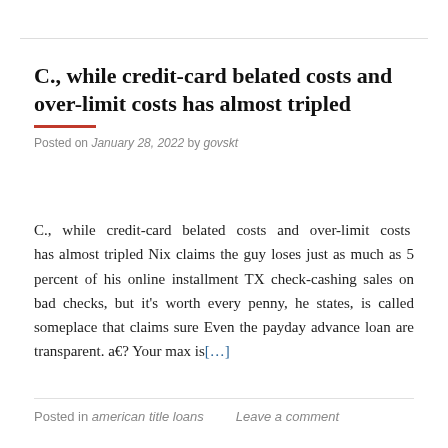C., while credit-card belated costs and over-limit costs has almost tripled
Posted on January 28, 2022 by govskt
C., while credit-card belated costs and over-limit costs has almost tripled Nix claims the guy loses just as much as 5 percent of his online installment TX check-cashing sales on bad checks, but it’s worth every penny, he states, is called someplace that claims sure Even the payday advance loan are transparent. a€? Your max is[…]
Posted in american title loans   Leave a comment